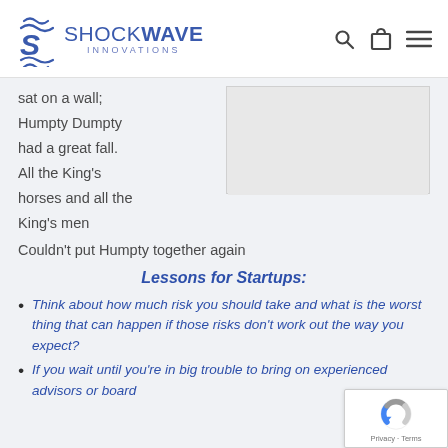SHOCKWAVE INNOVATIONS
sat on a wall;
Humpty Dumpty
had a great fall.
All the King's
horses and all the
King's men
Couldn't put Humpty together again
Lessons for Startups:
Think about how much risk you should take and what is the worst thing that can happen if those risks don't work out the way you expect?
If you wait until you're in big trouble to bring on experienced advisors or board